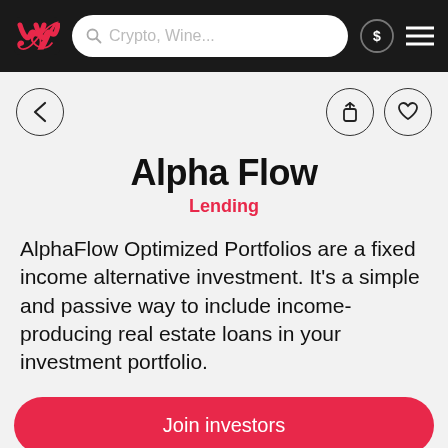[Figure (screenshot): Mobile app navigation bar with red M logo, search bar reading 'Crypto, Wine...', a dollar-sign chat icon, and hamburger menu icon on dark background]
Alpha Flow
Lending
AlphaFlow Optimized Portfolios are a fixed income alternative investment. It's a simple and passive way to include income-producing real estate loans in your investment portfolio.
Join investors
Write Review